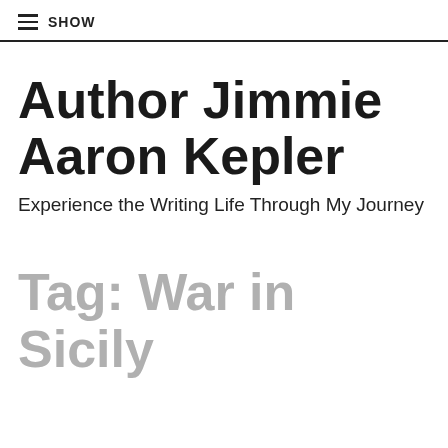≡ SHOW
Author Jimmie Aaron Kepler
Experience the Writing Life Through My Journey
Tag: War in Sicily